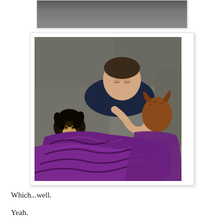[Figure (photo): Partial top edge of a photo showing a gray/dark upholstered couch]
[Figure (photo): A child lying on a gray suede couch, eyes closed, hugging stuffed animal toys including a chimpanzee plush, covered with a purple patterned blanket]
Which...well.
Yeah.